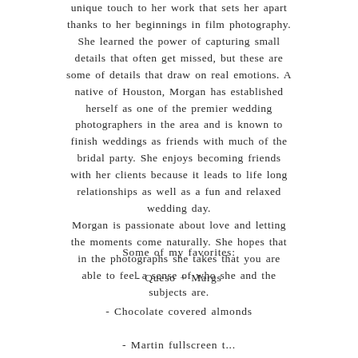unique touch to her work that sets her apart thanks to her beginnings in film photography. She learned the power of capturing small details that often get missed, but these are some of details that draw on real emotions. A native of Houston, Morgan has established herself as one of the premier wedding photographers in the area and is known to finish weddings as friends with much of the bridal party. She enjoys becoming friends with her clients because it leads to life long relationships as well as a fun and relaxed wedding day. Morgan is passionate about love and letting the moments come naturally. She hopes that in the photographs she takes that you are able to feel a sense of who she and the subjects are.
Some of my favorites:
- Queso + Margs
- Chocolate covered almonds
- Martin fullscreen t...